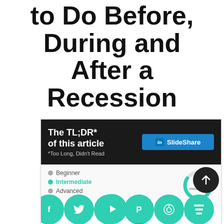to Do Before, During and After a Recession
[Figure (infographic): Infographic card with dark header reading 'The TL;DR* of this article / *Too Long, Didn't Read' and a LinkedIn SlideShare button. Body shows difficulty level (Intermediate selected in teal), a donut chart showing 15 minute read, and a row of social share icons (Facebook, Twitter, LinkedIn, Pinterest with 252 badge, Reddit, Buffer) and an up-arrow button.]